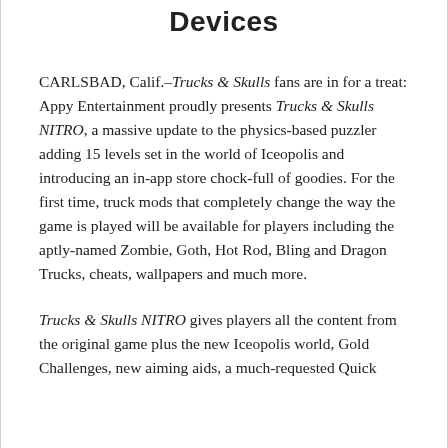Devices
CARLSBAD, Calif.–Trucks & Skulls fans are in for a treat: Appy Entertainment proudly presents Trucks & Skulls NITRO, a massive update to the physics-based puzzler adding 15 levels set in the world of Iceopolis and introducing an in-app store chock-full of goodies. For the first time, truck mods that completely change the way the game is played will be available for players including the aptly-named Zombie, Goth, Hot Rod, Bling and Dragon Trucks, cheats, wallpapers and much more.
Trucks & Skulls NITRO gives players all the content from the original game plus the new Iceopolis world, Gold Challenges, new aiming aids, a much-requested Quick...